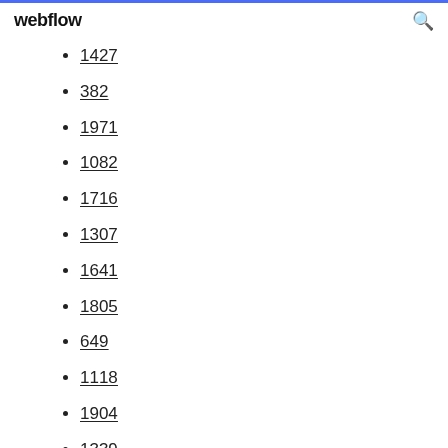webflow
1427
382
1971
1082
1716
1307
1641
1805
649
1118
1904
1339
1767